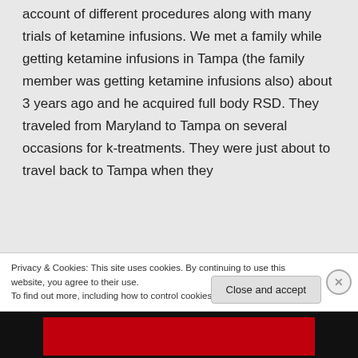account of different procedures along with many trials of ketamine infusions. We met a family while getting ketamine infusions in Tampa (the family member was getting ketamine infusions also) about 3 years ago and he acquired full body RSD. They traveled from Maryland to Tampa on several occasions for k-treatments. They were just about to travel back to Tampa when they
Privacy & Cookies: This site uses cookies. By continuing to use this website, you agree to their use.
To find out more, including how to control cookies, see here: Cookie Policy
Close and accept